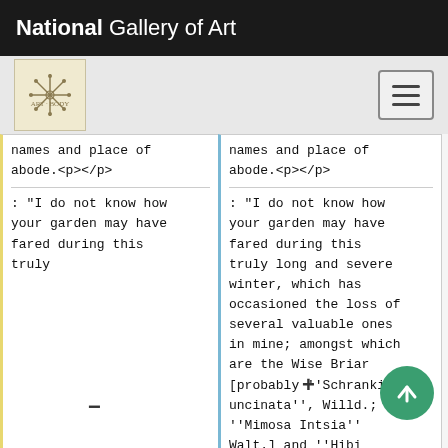National Gallery of Art
[Figure (logo): National Gallery of Art sub-logo icon and hamburger menu button]
names and place of abode.<p></p>
names and place of abode.<p></p>
: "I do not know how your garden may have fared during this truly
: "I do not know how your garden may have fared during this truly long and severe winter, which has occasioned the loss of several valuable ones in mine; amongst which are the Wise Briar [probably ''Schrankia uncinata'', Willd.; ''Mimosa Intsia'' Walt.] and ''Hibi speciosus'', which got from you. The